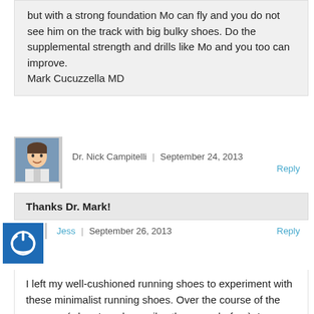but with a strong foundation Mo can fly and you do not see him on the track with big bulky shoes. Do the supplemental strength and drills like Mo and you too can improve.
Mark Cucuzzella MD
Dr. Nick Campitelli | September 24, 2013 Reply
Thanks Dr. Mark!
Jess | September 26, 2013 Reply
I left my well-cushioned running shoes to experiment with these minimalist running shoes. Over the course of the summer (when I ran less miles than ever before), I ran with little to no support under my feet. As a long time runner, I